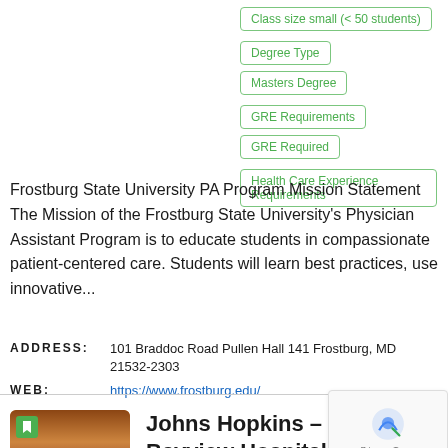Class size small (< 50 students)
Degree Type | Masters Degree
GRE Requirements | GRE Required
Health Care Experience Requirements
Frostburg State University PA Program Mission Statement The Mission of the Frostburg State University's Physician Assistant Program is to educate students in compassionate patient-centered care. Students will learn best practices, use innovative...
ADDRESS: 101 Braddoc Road Pullen Hall 141 Frostburg, MD 21532-2303
WEB: https://www.frostburg.edu/
Johns Hopkins – Bayview Hospital